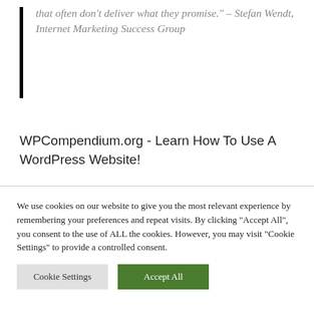that often don't deliver what they promise." – Stefan Wendt, Internet Marketing Success Group
WPCompendium.org - Learn How To Use A WordPress Website!
We use cookies on our website to give you the most relevant experience by remembering your preferences and repeat visits. By clicking "Accept All", you consent to the use of ALL the cookies. However, you may visit "Cookie Settings" to provide a controlled consent.
Cookie Settings  Accept All